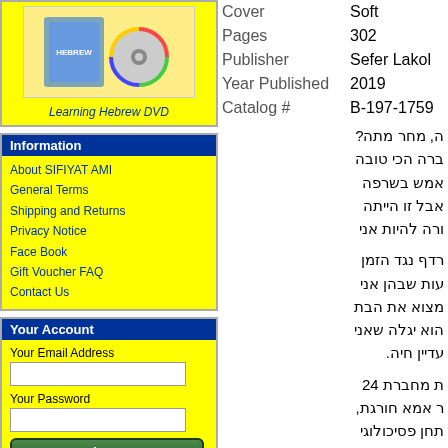[Figure (illustration): Learning Hebrew DVD product image on yellow background]
Learning Hebrew DVD
Information
About SIFIYAT AMI
General Terms
Shipping and Returns
Privacy Notice
Face Book
Gift Voucher FAQ
Contact Us
Your Account
Your Email Address
Your Password
Sign In
|  |  |
| --- | --- |
| Cover | Soft |
| Pages | 302 |
| Publisher | Sefer Lakol |
| Year Published | 2019 |
| Catalog # | B-197-1759 |
ה, מחר מתה? ברה הכי טובה אמש בשרפה אבל זו הייתה ורה להיות אני
רדף נגד הזמן עות שבהן אני מצוא את הבת הוא יגלה שאני עדיין חיה.
ת מחברת 24 ר אמא חורגת, תחן פסיכולוגי